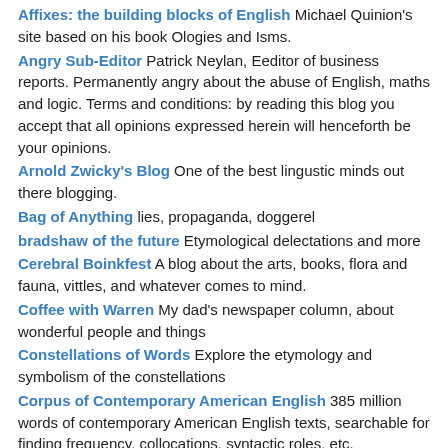Affixes: the building blocks of English Michael Quinion's site based on his book Ologies and Isms.
Angry Sub-Editor Patrick Neylan, Eeditor of business reports. Permanently angry about the abuse of English, maths and logic. Terms and conditions: by reading this blog you accept that all opinions expressed herein will henceforth be your opinions.
Arnold Zwicky's Blog One of the best lingustic minds out there blogging.
Bag of Anything lies, propaganda, doggerel
bradshaw of the future Etymological delectations and more
Cerebral Boinkfest A blog about the arts, books, flora and fauna, vittles, and whatever comes to mind.
Coffee with Warren My dad's newspaper column, about wonderful people and things
Constellations of Words Explore the etymology and symbolism of the constellations
Corpus of Contemporary American English 385 million words of contemporary American English texts, searchable for finding frequency, collocations, syntactic roles, etc.
Dialect Blog The accents of English
Double Tongued Dictionary A lexicon of fringe English, focusing on